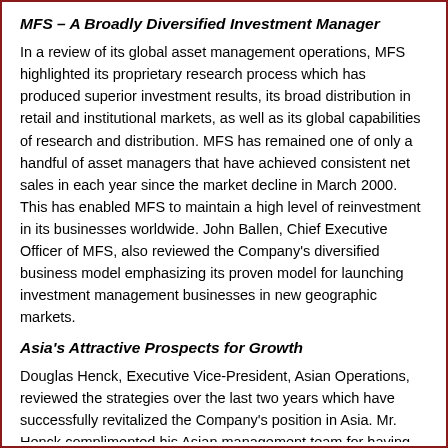MFS – A Broadly Diversified Investment Manager
In a review of its global asset management operations, MFS highlighted its proprietary research process which has produced superior investment results, its broad distribution in retail and institutional markets, as well as its global capabilities of research and distribution. MFS has remained one of only a handful of asset managers that have achieved consistent net sales in each year since the market decline in March 2000. This has enabled MFS to maintain a high level of reinvestment in its businesses worldwide. John Ballen, Chief Executive Officer of MFS, also reviewed the Company's diversified business model emphasizing its proven model for launching investment management businesses in new geographic markets.
Asia's Attractive Prospects for Growth
Douglas Henck, Executive Vice-President, Asian Operations, reviewed the strategies over the last two years which have successfully revitalized the Company's position in Asia. Mr. Henck complimented his Asian management team for having launched new ventures in both India and China on a self-financed basis. Strong financial returns from the Company's mature Asian businesses have been used as the source of investment dollars to build these new Asian businesses and to make significant investments in the Company's Hong Kong